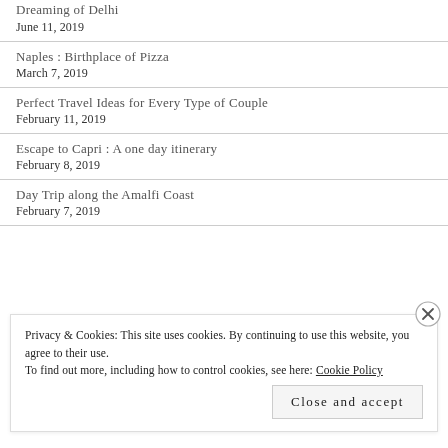Dreaming of Delhi
June 11, 2019
Naples : Birthplace of Pizza
March 7, 2019
Perfect Travel Ideas for Every Type of Couple
February 11, 2019
Escape to Capri : A one day itinerary
February 8, 2019
Day Trip along the Amalfi Coast
February 7, 2019
Privacy & Cookies: This site uses cookies. By continuing to use this website, you agree to their use.
To find out more, including how to control cookies, see here: Cookie Policy
Close and accept